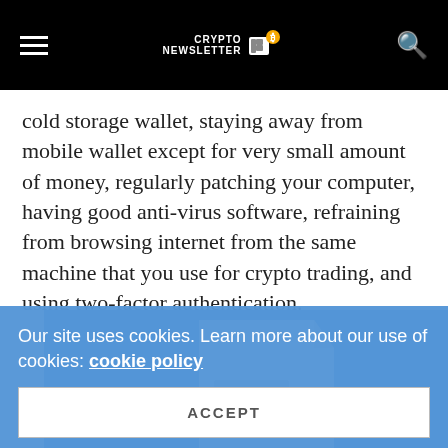Crypto Newsletter [logo/nav bar]
cold storage wallet, staying away from mobile wallet except for very small amount of money, regularly patching your computer, having good anti-virus software, refraining from browsing internet from the same machine that you use for crypto trading, and using two-factor authentication.
[Figure (illustration): Blue background with a white document/file illustration partially visible]
Our site uses cookies. Learn more about our use of cookies: cookie policy
ACCEPT